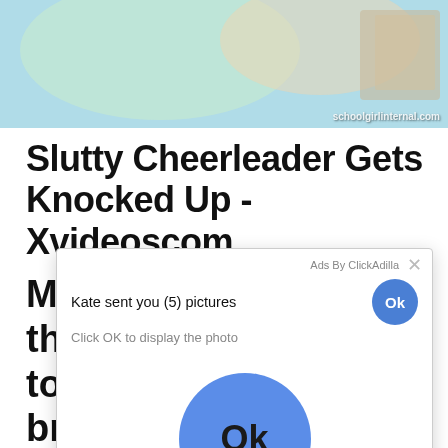[Figure (photo): Partial image of a scene with bedding/pillows in light blue and other colors, watermark 'schoolgirlinternal.com' in bottom right]
Slutty Cheerleader Gets Knocked Up - Xvideoscom
Mo... th... to... br... by... ma...
[Figure (screenshot): Ad popup overlay by ClickAdilla: 'Kate sent you (5) pictures / Click OK to display the photo' with Ok buttons and cj4 label]